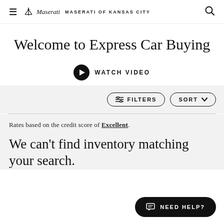≡ Maserati MASERATI OF KANSAS CITY 🔍
Welcome to Express Car Buying
▶ WATCH VIDEO
⊟ FILTERS   SORT ∨
Rates based on the credit score of Excellent.
We can't find inventory matching your search.
💬 NEED HELP?